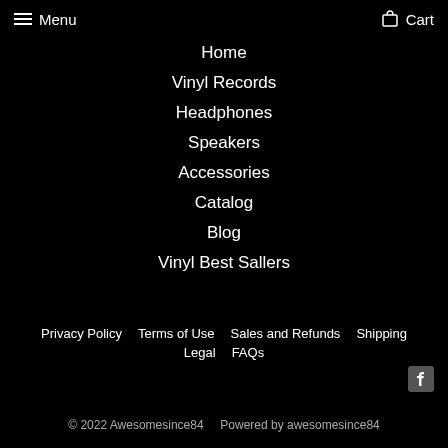Menu  Cart
Home
Vinyl Records
Headphones
Speakers
Accessories
Catalog
Blog
Vinyl Best Sallers
Privacy Policy  Terms of Use  Sales and Refunds  Shipping  Legal  FAQs
© 2022 Awesomesince84   Powered by awesomesince84